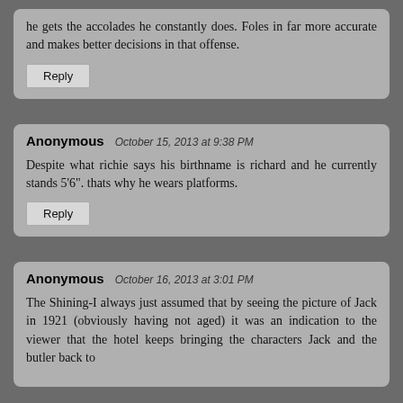he gets the accolades he constantly does. Foles in far more accurate and makes better decisions in that offense.
Reply
Anonymous  October 15, 2013 at 9:38 PM
Despite what richie says his birthname is richard and he currently stands 5'6". thats why he wears platforms.
Reply
Anonymous  October 16, 2013 at 3:01 PM
The Shining-I always just assumed that by seeing the picture of Jack in 1921 (obviously having not aged) it was an indication to the viewer that the hotel keeps bringing the characters Jack and the butler back to